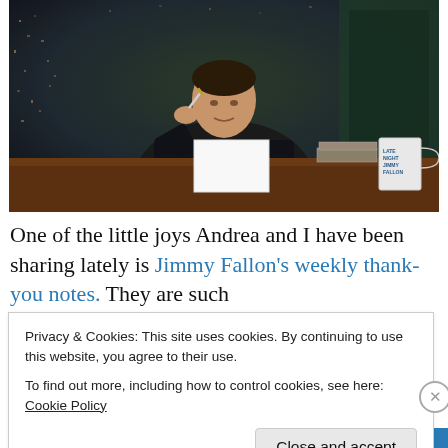[Figure (photo): Photo of a man in a dark suit sitting at a desk, holding a pen near his chin, with a white notecard and a 'Late Night Jimmy Fallon' mug visible on the desk. Dark city lights bokeh background.]
One of the little joys Andrea and I have been sharing lately is Jimmy Fallon's weekly thank-you notes. They are such
Privacy & Cookies: This site uses cookies. By continuing to use this website, you agree to their use.
To find out more, including how to control cookies, see here: Cookie Policy
Close and accept